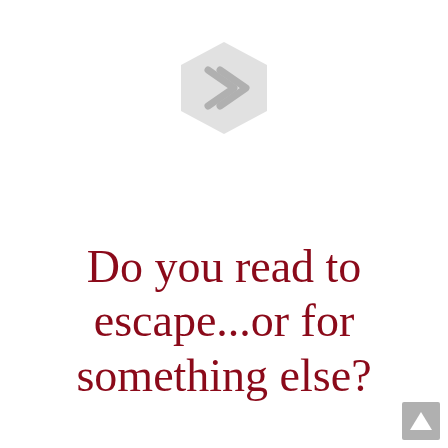[Figure (illustration): A light grey hexagonal chevron/arrow icon pointing right, centered near the top of the page]
Do you read to escape...or for something else?
[Figure (illustration): A small grey upward-pointing triangle/arrow button in the bottom-right corner]